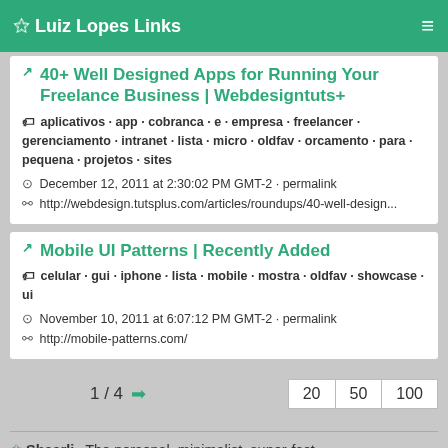Luiz Lopes Links
40+ Well Designed Apps for Running Your Freelance Business | Webdesigntuts+
aplicativos · app · cobranca · e · empresa · freelancer · gerenciamento · intranet · lista · micro · oldfav · orcamento · para · pequena · projetos · sites
December 12, 2011 at 2:30:02 PM GMT-2 · permalink
http://webdesign.tutsplus.com/articles/roundups/40-well-design...
Mobile UI Patterns | Recently Added
celular · gui · iphone · lista · mobile · mostra · oldfav · showcase · ui
November 10, 2011 at 6:07:12 PM GMT-2 · permalink
http://mobile-patterns.com/
1 / 4 ➡   20  50  100
✩ Shaarli · The personal, minimalist, super-fast,